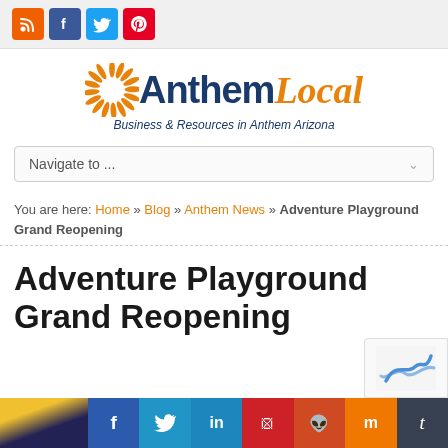[Figure (logo): Social media icons: RSS (orange), Facebook (blue), Twitter (light blue), Pinterest (red)]
[Figure (logo): Anthem Local logo with sunburst icon, 'Anthem' in dark blue and 'Local' in orange italic, tagline 'Business & Resources in Anthem Arizona']
Navigate to ...
You are here: Home » Blog » Anthem News » Adventure Playground Grand Reopening
Adventure Playground Grand Reopening
[Figure (screenshot): Social share bar with Facebook, Twitter, LinkedIn, Pinterest, Reddit, Mix, Tumblr buttons; partially visible article image at bottom left; reCAPTCHA widget at bottom right]